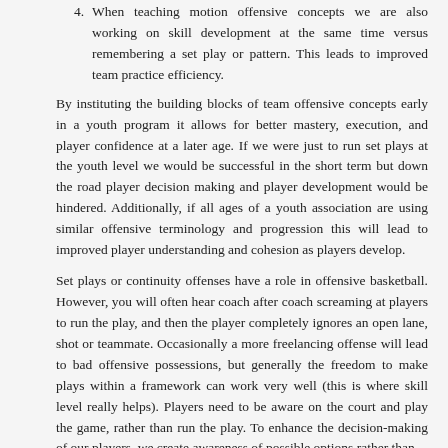4. When teaching motion offensive concepts we are also working on skill development at the same time versus remembering a set play or pattern.  This leads to improved team practice efficiency.
By instituting the building blocks of team offensive concepts early in a youth program it allows for better mastery, execution, and player confidence at a later age. If we were just to run set plays at the youth level we would be successful in the short term but down the road player decision making and player development would be hindered.  Additionally, if all ages of a youth association are using similar offensive terminology and progression this will lead to improved player understanding and cohesion as players develop.
Set plays or continuity offenses have a role in offensive basketball. However, you will often hear coach after coach screaming at players to run the play, and then the player completely ignores an open lane, shot or teammate. Occasionally a more freelancing offense will lead to bad offensive possessions, but generally the freedom to make plays within a framework can work very well (this is where skill level really helps). Players need to be aware on the court and play the game, rather than run the play. To enhance the decision-making of our players, we create awareness of possible options rather than